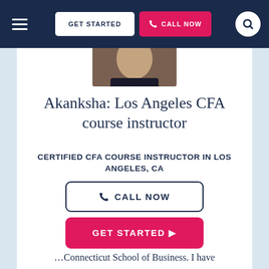[Figure (screenshot): Navigation bar with hamburger menu, GET STARTED button, CALL NOW button in pink, and search icon on dark navy background]
[Figure (photo): Partial photo of Akanksha, a CFA course instructor, showing head and shoulders in dark clothing]
Akanksha: Los Angeles CFA course instructor
CERTIFIED CFA COURSE INSTRUCTOR IN LOS ANGELES, CA
CALL NOW
GET STARTED ▶
…Connecticut School of Business. I have